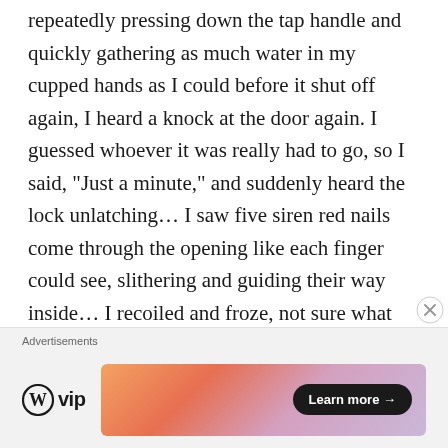repeatedly pressing down the tap handle and quickly gathering as much water in my cupped hands as I could before it shut off again, I heard a knock at the door again. I guessed whoever it was really had to go, so I said, "Just a minute," and suddenly heard the lock unlatching... I saw five siren red nails come through the opening like each finger could see, slithering and guiding their way inside... I recoiled and froze, not sure what was happening or what the Hell I should do about it. Maybe she was just refilling the soap, was the first thought I had. "Hey sugar, do you
Advertisements
[Figure (logo): WordPress VIP logo with circle W icon and 'vip' text]
[Figure (illustration): Advertisement banner with orange/pink gradient and 'Learn more →' button]